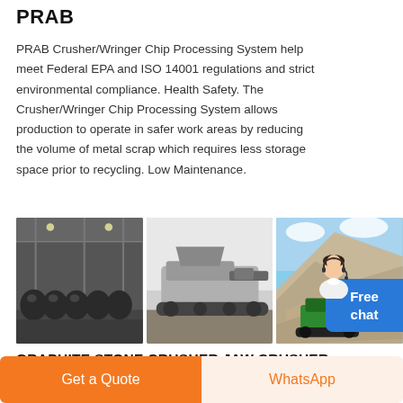PRAB
PRAB Crusher/Wringer Chip Processing System help meet Federal EPA and ISO 14001 regulations and strict environmental compliance. Health Safety. The Crusher/Wringer Chip Processing System allows production to operate in safer work areas by reducing the volume of metal scrap which requires less storage space prior to recycling. Low Maintenance.
[Figure (photo): Three photos of industrial crushing/mining equipment: left shows ball mills in a factory, center shows a mobile jaw crusher, right shows a green mobile crusher working outdoors near a rocky hillside.]
GRAPHITE STONE CRUSHER JAW CRUSHER MACHINE CRUSHER
Get a Quote
WhatsApp